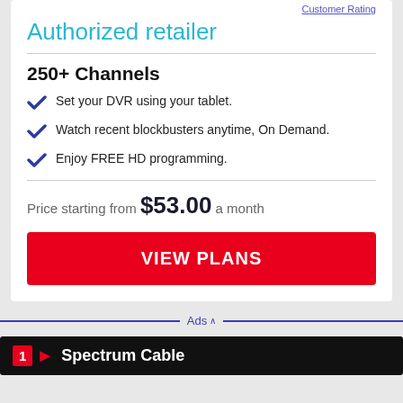Customer Rating
Authorized retailer
250+ Channels
Set your DVR using your tablet.
Watch recent blockbusters anytime, On Demand.
Enjoy FREE HD programming.
Price starting from $53.00 a month
VIEW PLANS
Ads
1 Spectrum Cable